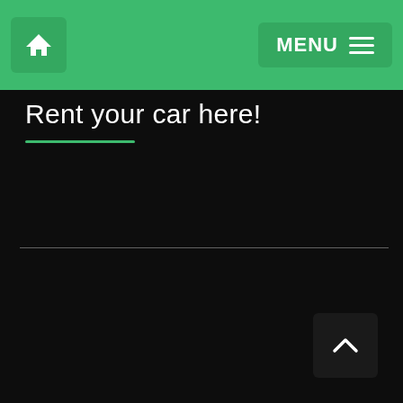Home | MENU
Rent your car here!
[Figure (illustration): Scroll-to-top button arrow chevron icon in bottom right corner]